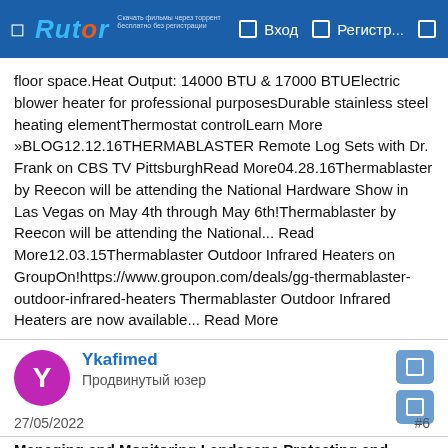Rutor | Вход | Регистр...
floor space.Heat Output: 14000 BTU & 17000 BTUElectric blower heater for professional purposesDurable stainless steel heating elementThermostat controlLearn More »BLOG12.12.16THERMABLASTER Remote Log Sets with Dr. Frank on CBS TV PittsburghRead More04.28.16Thermablaster by Reecon will be attending the National Hardware Show in Las Vegas on May 4th through May 6th!Thermablaster by Reecon will be attending the National... Read More12.03.15Thermablaster Outdoor Infrared Heaters on GroupOn!https://www.groupon.com/deals/gg-thermablaster-outdoor-infrared-heaters Thermablaster Outdoor Infrared Heaters are now available... Read More
Ykafimed
Продвинутый юзер
27/05/2022
#6
Managing and Monitoring Landscape Protecting and improving...